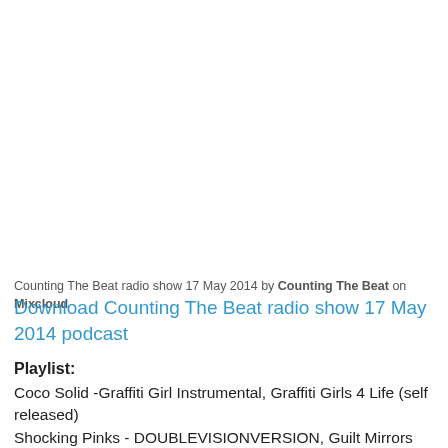Counting The Beat radio show 17 May 2014 by Counting The Beat on Mixcloud
Download Counting The Beat radio show 17 May 2014 podcast
Playlist:
Coco Solid -Graffiti Girl Instrumental, Graffiti Girls 4 Life (self released)
Shocking Pinks - DOUBLEVISIONVERSION, Guilt Mirrors (Stars and Letters)
Julien Dyne - Rice and Beans, Phantom Limbo EP (From the